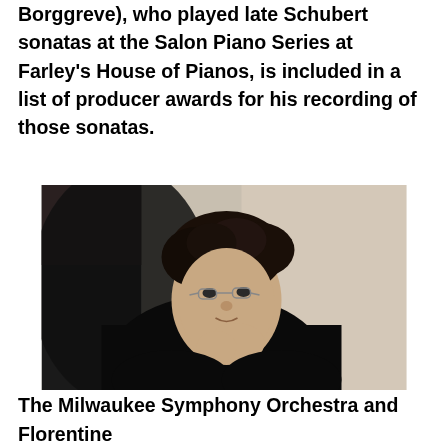Borggreve), who played late Schubert sonatas at the Salon Piano Series at Farley's House of Pianos, is included in a list of producer awards for his recording of those sonatas.
[Figure (photo): Black and white portrait photo of a man with curly dark hair wearing glasses and a black sweater, seated and looking slightly to the side with a slight smile, hands clasped near his chin.]
The Milwaukee Symphony Orchestra and Florentine